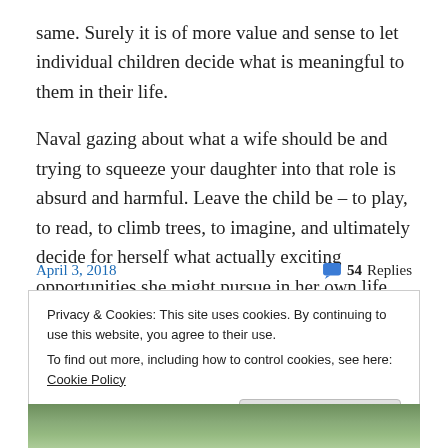same. Surely it is of more value and sense to let individual children decide what is meaningful to them in their life.
Naval gazing about what a wife should be and trying to squeeze your daughter into that role is absurd and harmful. Leave the child be – to play, to read, to climb trees, to imagine, and ultimately decide for herself what actually exciting opportunities she might pursue in her own life.
April 3, 2018
💬 54 Replies
Privacy & Cookies: This site uses cookies. By continuing to use this website, you agree to their use.
To find out more, including how to control cookies, see here: Cookie Policy
Close and accept
[Figure (photo): Partial view of a photo at the bottom of the page showing green foliage/garden scene]